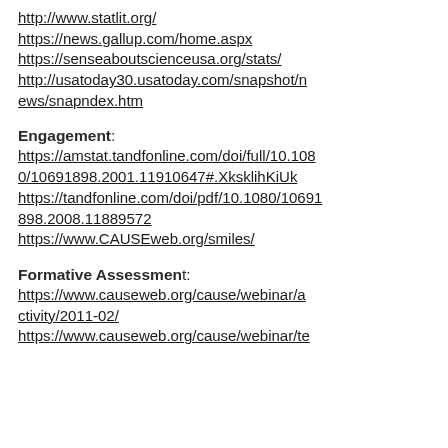http://www.statlit.org/
https://news.gallup.com/home.aspx
https://senseaboutscienceusa.org/stats/
http://usatoday30.usatoday.com/snapshot/news/snapndex.htm
Engagement:
https://amstat.tandfonline.com/doi/full/10.1080/10691898.2001.11910647#.XksklihKiUk
https://tandfonline.com/doi/pdf/10.1080/10691898.2008.11889572
https://www.CAUSEweb.org/smiles/
Formative Assessment:
https://www.causeweb.org/cause/webinar/activity/2011-02/
https://www.causeweb.org/cause/webinar/te